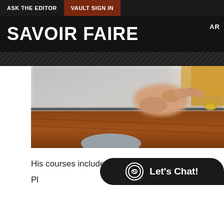ASK THE EDITOR   VAULT SIGN IN
SAVOIR FAIRE
[Figure (photo): Close-up photo of a person's hand holding or pressing a flat blade/knife on a wooden surface, blurred background with metallic and gold tones]
His courses include:
Pl...